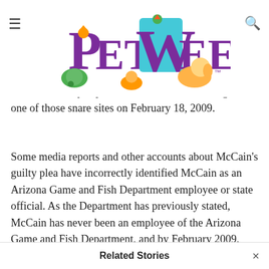Pets Weekly logo header with hamburger menu and search icon
there was … any capture a … Rancho B was caught at one of those snare sites on February 18, 2009.
Some media reports and other accounts about McCain's guilty plea have incorrectly identified McCain as an Arizona Game and Fish Department employee or state official. As the Department has previously stated, McCain has never been an employee of the Arizona Game and Fish Department, and by February 2009,
Related Stories